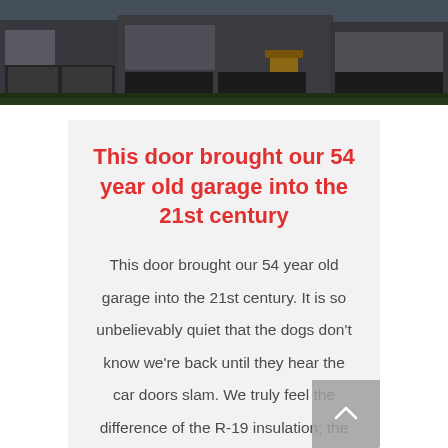[Figure (photo): Exterior photo of townhouses/homes with garages, dark grey siding and a yellow door visible]
This door brought our 54 year old garage into the 21st century
This door brought our 54 year old garage into the 21st century. It is so unbelievably quiet that the dogs don't know we're back until they hear the car doors slam. We truly feel the difference of the R-19 insulation; the garage is now warmer than the sun room! The motion sensor means no more fumbling for the switch in the dark nor